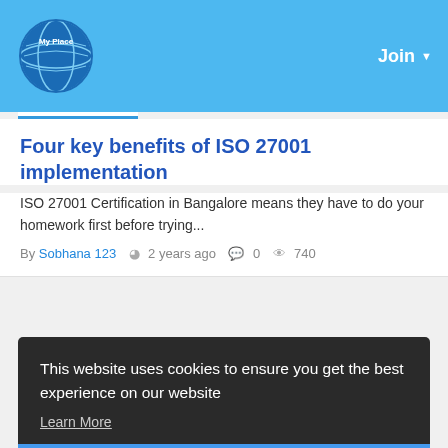Join
Four key benefits of ISO 27001 implementation
ISO 27001 Certification in Bangalore means they have to do your homework first before trying...
By Sobhana 123  2 years ago  0  740
This website uses cookies to ensure you get the best experience on our website
Learn More
Got It!